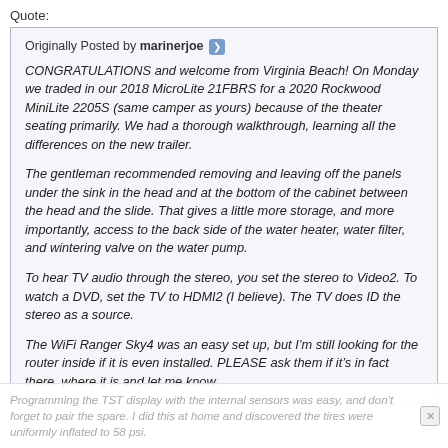Quote:
Originally Posted by marinerjoe
CONGRATULATIONS and welcome from Virginia Beach! On Monday we traded in our 2018 MicroLite 21FBRS for a 2020 Rockwood MiniLite 2205S (same camper as yours) because of the theater seating primarily. We had a thorough walkthrough, learning all the differences on the new trailer.
The gentleman recommended removing and leaving off the panels under the sink in the head and at the bottom of the cabinet between the head and the slide. That gives a little more storage, and more importantly, access to the back side of the water heater, water filter, and wintering valve on the water pump.
To hear TV audio through the stereo, you set the stereo to Video2. To watch a DVD, set the TV to HDMI2 (I believe). The TV does ID the stereo as a source.
The WiFi Ranger Sky4 was an easy set up, but I’m still looking for the router inside if it is even installed. PLEASE ask them if it’s in fact there, where it is and let me know.
Programming the TST display with the internal sensors was easy, and don’t forget to pair the spare. I did this at home and discovered the tires were uniformly inflated to 58 psi.